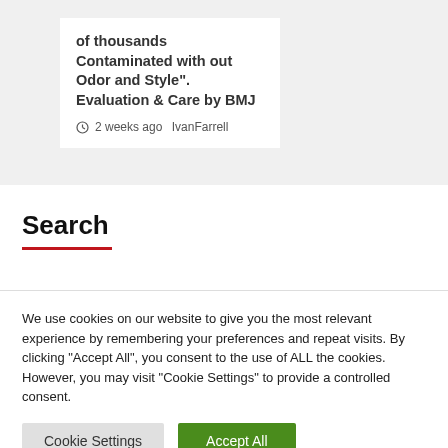of thousands Contaminated with out Odor and Style". Evaluation & Care by BMJ
2 weeks ago  IvanFarrell
Search
We use cookies on our website to give you the most relevant experience by remembering your preferences and repeat visits. By clicking “Accept All”, you consent to the use of ALL the cookies. However, you may visit "Cookie Settings" to provide a controlled consent.
Cookie Settings  Accept All